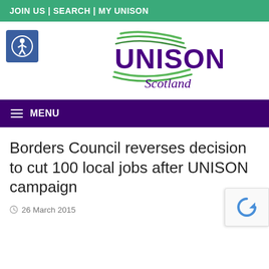JOIN US | SEARCH | MY UNISON
[Figure (logo): UNISON Scotland logo with green swoosh lines above purple UNISON text and Scotland italic text below]
MENU
Borders Council reverses decision to cut 100 local jobs after UNISON campaign
26 March 2015